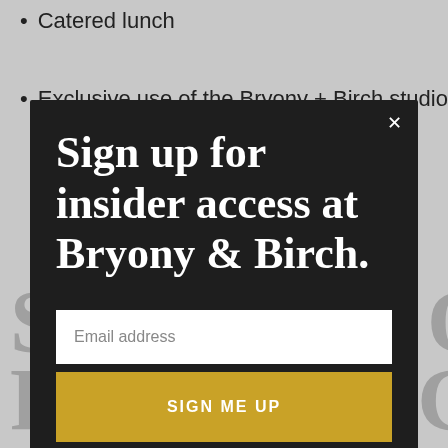Catered lunch
Exclusive use of the Bryony + Birch studio
[Figure (screenshot): Modal popup dialog with dark background on a grey page. Contains a title 'Sign up for insider access at Bryony & Birch.' with an email address input field and a golden 'SIGN ME UP' button. A close (×) button is in the top right corner.]
Sign up for insider access at Bryony & Birch.
Email address
SIGN ME UP